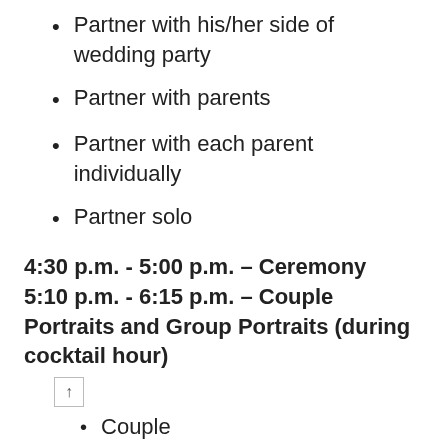Partner with his/her side of wedding party
Partner with parents
Partner with each parent individually
Partner solo
4:30 p.m. - 5:00 p.m. – Ceremony
5:10 p.m. - 6:15 p.m.  – Couple Portraits and Group Portraits (during cocktail hour)
Couple
Couple with wedding party